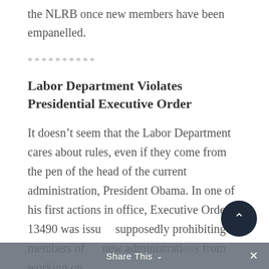the NLRB once new members have been empanelled.
**********
Labor Department Violates Presidential Executive Order
It doesn’t seem that the Labor Department cares about rules, even if they come from the pen of the head of the current administration, President Obama. In one of his first actions in office, Executive Order 13490 was issued supposedly prohibiting members of new administrations from working on
Share This